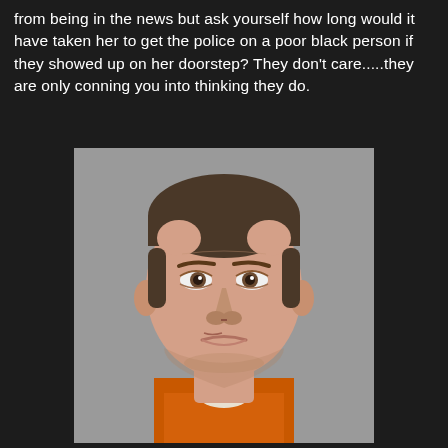from being in the news but ask yourself how long would it have taken her to get the police on a poor black person if they showed up on her doorstep? They don't care.....they are only conning you into thinking they do.
[Figure (photo): Mugshot-style photo of a middle-aged white man with short dark hair wearing an orange jumpsuit, looking upward slightly against a gray background.]